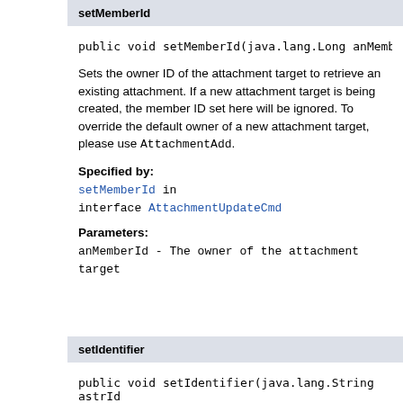setMemberId
public void setMemberId(java.lang.Long anMemberId
Sets the owner ID of the attachment target to retrieve an existing attachment. If a new attachment target is being created, the member ID set here will be ignored. To override the default owner of a new attachment target, please use AttachmentAdd.
Specified by:
setMemberId in interface AttachmentUpdateCmd
Parameters:
anMemberId - The owner of the attachment target
setIdentifier
public void setIdentifier(java.lang.String astrId